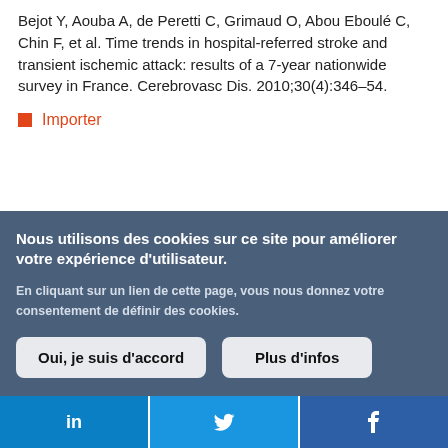Bejot Y, Aouba A, de Peretti C, Grimaud O, Abou Eboulé C, Chin F, et al. Time trends in hospital-referred stroke and transient ischemic attack: results of a 7-year nationwide survey in France. Cerebrovasc Dis. 2010;30(4):346–54.
Importer
Nous utilisons des cookies sur ce site pour améliorer votre expérience d'utilisateur.
En cliquant sur un lien de cette page, vous nous donnez votre consentement de définir des cookies.
Oui, je suis d'accord  Plus d'infos
in  Twitter  f